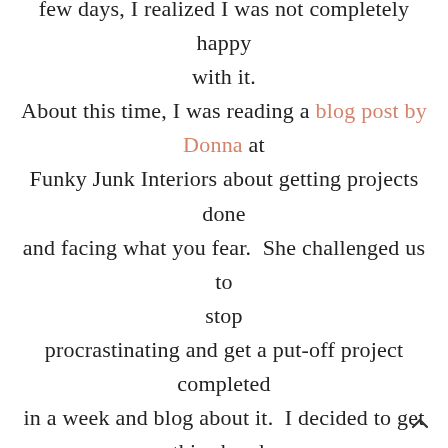After living with the dining room chandy for a few days, I realized I was not completely happy with it. About this time, I was reading a blog post by Donna at Funky Junk Interiors about getting projects done and facing what you fear. She challenged us to stop procrastinating and get a put-off project completed in a week and blog about it. I decided to get this chandy FINISHED and not let it's incompleteness bother me anymore. I did get the chandy done in time but